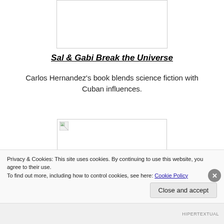[Figure (other): Book cover image placeholder at top, white box with border]
Sal & Gabi Break the Universe
Carlos Hernandez's book blends science fiction with Cuban influences.
[Figure (other): Broken image placeholder with small broken image icon]
Privacy & Cookies: This site uses cookies. By continuing to use this website, you agree to their use.
To find out more, including how to control cookies, see here: Cookie Policy
Close and accept